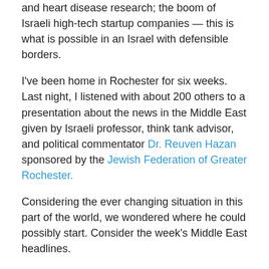and heart disease research; the boom of Israeli high-tech startup companies — this is what is possible in an Israel with defensible borders.
I've been home in Rochester for six weeks. Last night, I listened with about 200 others to a presentation about the news in the Middle East given by Israeli professor, think tank advisor, and political commentator Dr. Reuven Hazan sponsored by the Jewish Federation of Greater Rochester.
Considering the ever changing situation in this part of the world, we wondered where he could possibly start. Consider the week's Middle East headlines.
More rioting in Syria as the Syrian government massacres its own citizens, even those lying already wounded in a hospital; US and Britain remove diplomats;